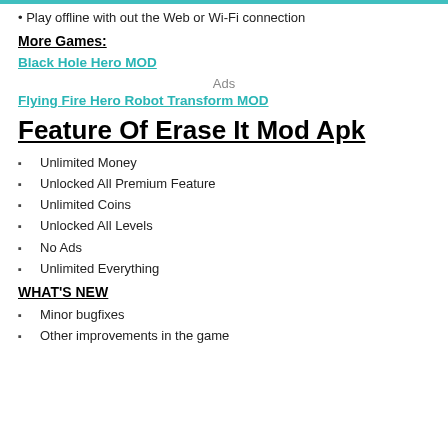Play offline with out the Web or Wi-Fi connection
More Games:
Black Hole Hero MOD
Ads
Flying Fire Hero Robot Transform MOD
Feature Of Erase It Mod Apk
Unlimited Money
Unlocked All Premium Feature
Unlimited Coins
Unlocked All Levels
No Ads
Unlimited Everything
WHAT'S NEW
Minor bugfixes
Other improvements in the game